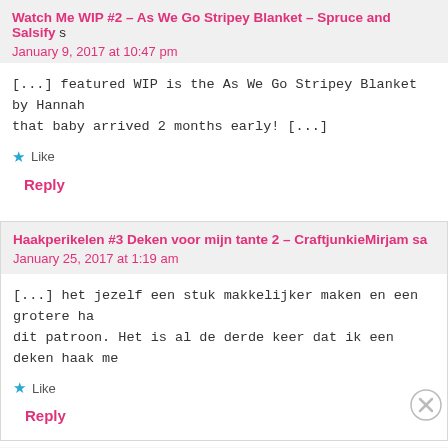Watch Me WIP #2 – As We Go Stripey Blanket – Spruce and Salsify
January 9, 2017 at 10:47 pm
[...] featured WIP is the As We Go Stripey Blanket by Hannah that baby arrived 2 months early! [...]
★ Like
Reply
Haakperikelen #3 Deken voor mijn tante 2 – CraftjunkieMirjam sa
January 25, 2017 at 1:19 am
[...] het jezelf een stuk makkelijker maken en een grotere ha dit patroon. Het is al de derde keer dat ik een deken haak me
★ Like
Reply
Advertisements
AUTOMATTIC
Build a better web and a better world.